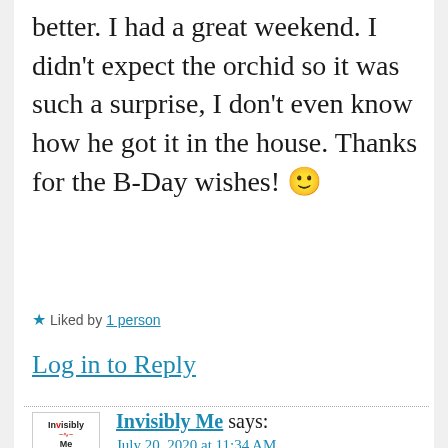better. I had a great weekend. I didn't expect the orchid so it was such a surprise, I don't even know how he got it in the house. Thanks for the B-Day wishes! 🙂
★ Liked by 1 person
Log in to Reply
Invisibly Me says:
July 20, 2020 at 11:34 AM